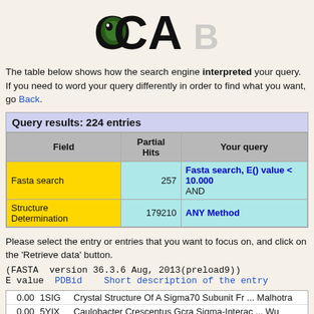[Figure (logo): OCA logo with stylized text and bird eye graphic in the O]
The table below shows how the search engine interpreted your query. If you need to word your query differently in order to find what you want, go Back.
| Field | Partial Hits | Your query |
| --- | --- | --- |
| Fasta search | 257 | Fasta search, E() value < 10.000 AND |
| Structure Determination | 179210 | ANY Method |
Please select the entry or entries that you want to focus on, and click on the 'Retrieve data' button.
(FASTA  version 36.3.6 Aug, 2013(preload9))
E value  PDBid    Short description of the entry                                        Auth
| E value | PDBid | Short description of the entry | Author |
| --- | --- | --- | --- |
| 0.00 | 1SIG | Crystal Structure Of A Sigma70 Subunit Fr ... Malhotra |  |
| 0.00 | 5YIX | Caulobacter Crescentus Gcra Sigma-Interac ... Wu |  |
| 0.00 | 4XSX | Crystal Structure Of Chr 703 Bound To Esc ... Bae |  |